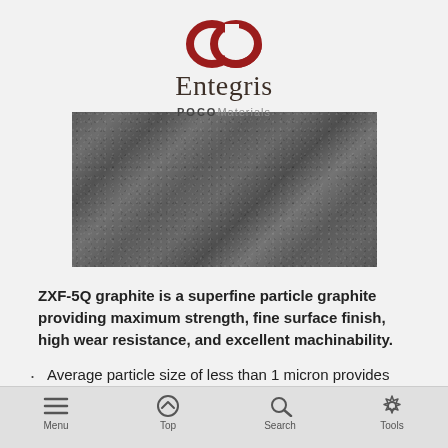[Figure (logo): Entegris logo with red linked rings icon above stylized serif text 'Entegris', with 'POCO Materials' text below]
[Figure (photo): Microscopic view of ZXF-5Q graphite surface showing fine particle texture, dark gray granular material]
ZXF-5Q graphite is a superfine particle graphite providing maximum strength, fine surface finish, high wear resistance, and excellent machinability.
Average particle size of less than 1 micron provides superior strength and resistance to damage
Menu  Top  Search  Tools